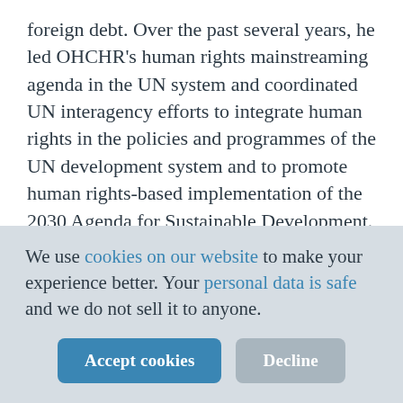foreign debt. Over the past several years, he led OHCHR's human rights mainstreaming agenda in the UN system and coordinated UN interagency efforts to integrate human rights in the policies and programmes of the UN development system and to promote human rights-based implementation of the 2030 Agenda for Sustainable Development.
Prior to OHCHR, he served at the UN Department of Economic and Social Affairs in New York, the UN Office at Vienna, UNDP and the UN
We use cookies on our website to make your experience better. Your personal data is safe and we do not sell it to anyone.